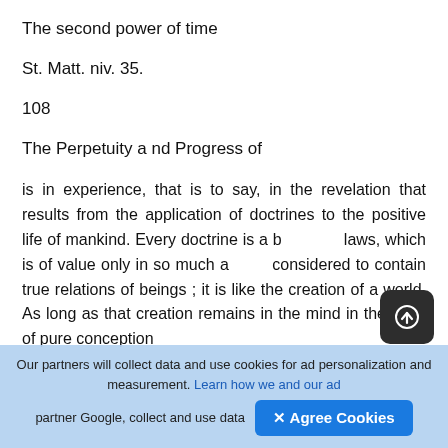The second power of time
St. Matt. niv. 35.
108
The Perpetuity a nd Progress of
is in experience, that is to say, in the revelation that results from the application of doctrines to the positive life of mankind. Every doctrine is a b… laws, which is of value only in so much a… considered to contain true relations of beings ; it is like the creation of a world. As long as that creation remains in the mind in the state of pure conception
Our partners will collect data and use cookies for ad personalization and measurement. Learn how we and our ad partner Google, collect and use data   ✕ Agree Cookies